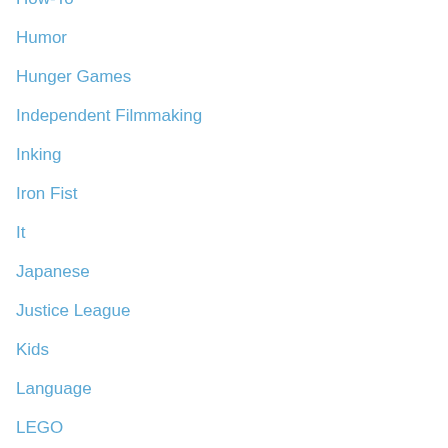How-To
Humor
Hunger Games
Independent Filmmaking
Inking
Iron Fist
It
Japanese
Justice League
Kids
Language
LEGO
LGBTQ
Libraries
LINE Webtoon
Literacy
Local